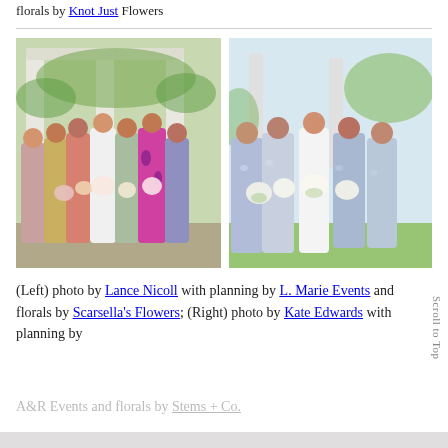florals by Knot Just Flowers
[Figure (photo): Left: Group of bridesmaids in colorful mismatched dresses holding bouquets outdoors near white columns. Right: Group of bridesmaids in blue/grey floral dresses holding white floral bouquets outdoors.]
(Left) photo by Lance Nicoll with planning by L. Marie Events and florals by Scarsella's Flowers; (Right) photo by Kate Edwards with planning by A&R Events and florals by Stems + Co.